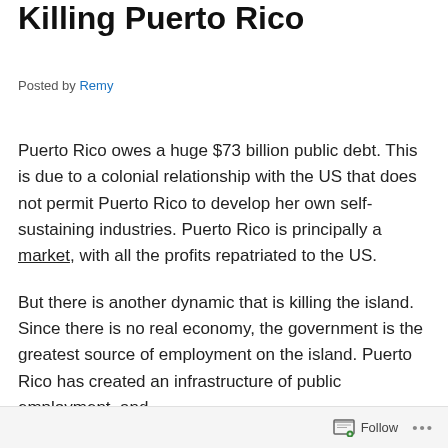Killing Puerto Rico
Posted by Remy
Puerto Rico owes a huge $73 billion public debt. This is due to a colonial relationship with the US that does not permit Puerto Rico to develop her own self-sustaining industries. Puerto Rico is principally a market, with all the profits repatriated to the US.
But there is another dynamic that is killing the island. Since there is no real economy, the government is the greatest source of employment on the island. Puerto Rico has created an infrastructure of public employment, and
Follow